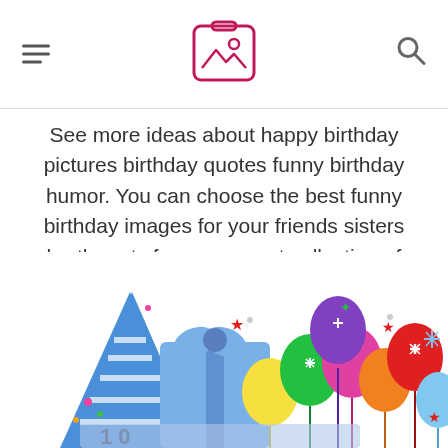[hamburger menu icon] [image/gallery logo icon] [search icon]
See more ideas about happy birthday pictures birthday quotes funny birthday humor. You can choose the best funny birthday images for your friends sisters brother etc from our great collection of happy birthday images.
[Figure (illustration): Colorful birthday party illustration showing balloons in multiple colors (green, pink/magenta, purple, orange, red, yellow, blue), a blue striped party hat, a blue gift box with ribbon/bow, confetti, stars, and what appears to be large birthday candle numbers at the bottom. Festive and cartoonish style.]